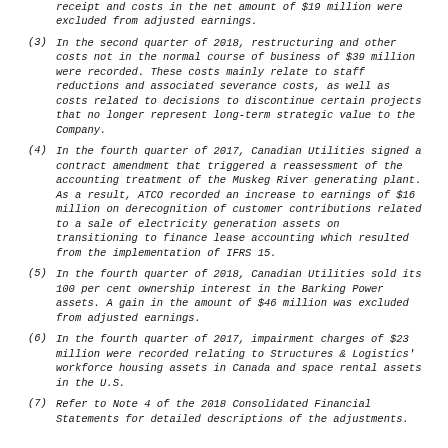receipt and costs in the net amount of $19 million were excluded from adjusted earnings.
(3) In the second quarter of 2018, restructuring and other costs not in the normal course of business of $39 million were recorded. These costs mainly relate to staff reductions and associated severance costs, as well as costs related to decisions to discontinue certain projects that no longer represent long-term strategic value to the Company.
(4) In the fourth quarter of 2017, Canadian Utilities signed a contract amendment that triggered a reassessment of the accounting treatment of the Muskeg River generating plant. As a result, ATCO recorded an increase to earnings of $16 million on derecognition of customer contributions related to a sale of electricity generation assets on transitioning to finance lease accounting which resulted from the implementation of IFRS 15.
(5) In the fourth quarter of 2018, Canadian Utilities sold its 100 per cent ownership interest in the Barking Power assets. A gain in the amount of $46 million was excluded from adjusted earnings.
(6) In the fourth quarter of 2017, impairment charges of $23 million were recorded relating to Structures & Logistics' workforce housing assets in Canada and space rental assets in the U.S.
(7) Refer to Note 4 of the 2018 Consolidated Financial Statements for detailed descriptions of the adjustments.